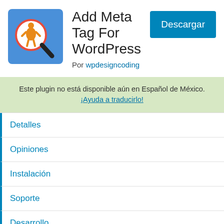[Figure (logo): Plugin icon: blue square background with a magnifying glass containing an orange accessibility figure (wheelchair user symbol) and a red circle outline. Black magnifying glass handle.]
Add Meta Tag For WordPress
Por wpdesigncoding
Descargar
Este plugin no está disponible aún en Español de México. ¡Ayuda a traducirlo!
Detalles
Opiniones
Instalación
Soporte
Desarrollo
Descripción